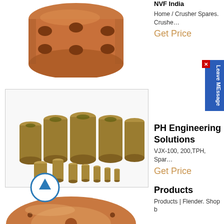[Figure (photo): Copper/bronze cylindrical bushing with circular holes, shown from above on white background]
NVF India
Home / Crusher Spares. Crushe…
Get Price
[Figure (photo): Group of various sized gold/bronze cylindrical bushings arranged together on white background inside bordered box]
PH Engineering Solutions
VJX-100, 200,TPH, Spar…
Get Price
[Figure (photo): Copper/bronze circular flange or disc component, partially visible at bottom of page]
Products
Products | Flender. Shop b